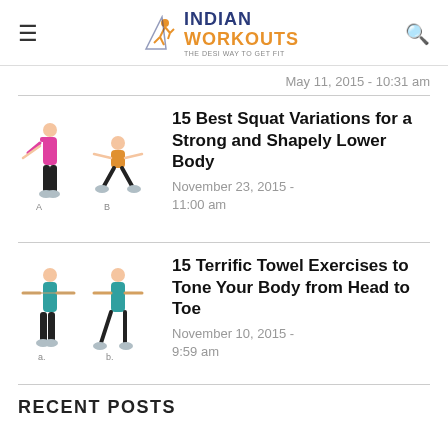Indian Workouts - The Desi Way to Get Fit
May 11, 2015 - 10:31 am
[Figure (illustration): Two women performing squat exercises, labeled A and B, wearing pink and teal workout clothing]
15 Best Squat Variations for a Strong and Shapely Lower Body
November 23, 2015 - 11:00 am
[Figure (illustration): Two women performing towel exercises, labeled a and b, wearing teal tops and black pants]
15 Terrific Towel Exercises to Tone Your Body from Head to Toe
November 10, 2015 - 9:59 am
RECENT POSTS